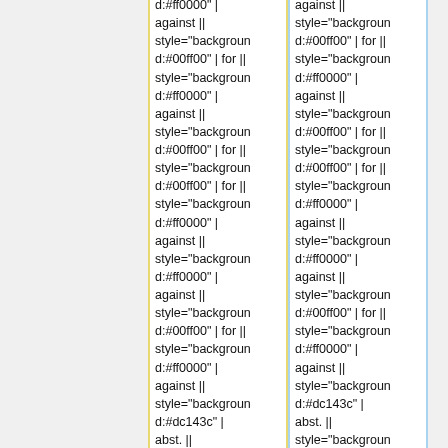d:#ff0000" | against || style="background:#00ff00" | for || style="background:#ff0000" | against || style="background:#00ff00" | for || style="background:#00ff00" | for || style="background:#ff0000" | against || style="background:#ff0000" | against || style="background:#00ff00" | for || style="background:#ff0000" | against || style="background:#dc143c" | abst. || style="background
against || style="background:#00ff00" | for || style="background:#ff0000" | against || style="background:#00ff00" | for || style="background:#00ff00" | for || style="background:#ff0000" | against || style="background:#ff0000" | against || style="background:#00ff00" | for || style="background:#ff0000" | against || style="background:#dc143c" | abst. || style="background:#00ff00" | for ||